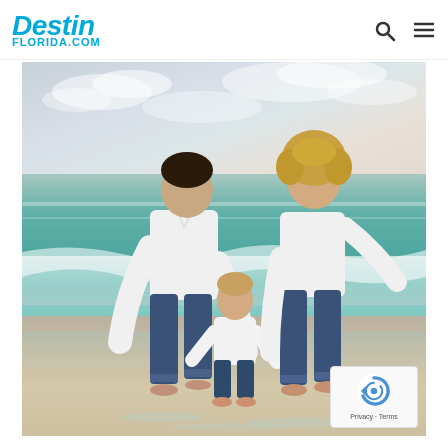Destin Florida.com — navigation header with search and menu icons
[Figure (photo): Family of three (man, woman, and toddler) wearing white shirts and jeans walking barefoot on a beach shoreline, holding hands with the child between them, ocean waves and cloudy sky in background at Destin, Florida]
[Figure (logo): Google reCAPTCHA badge with reCAPTCHA icon and 'Privacy - Terms' text]